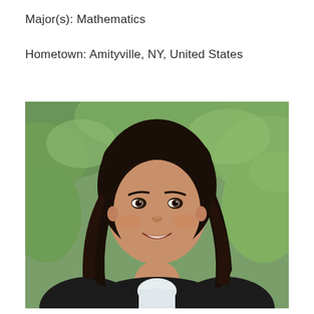Major(s): Mathematics
Hometown: Amityville, NY, United States
[Figure (photo): Portrait photo of a young woman with long dark wavy hair, smiling, wearing a black graduation gown with white collar, against a green leafy background.]